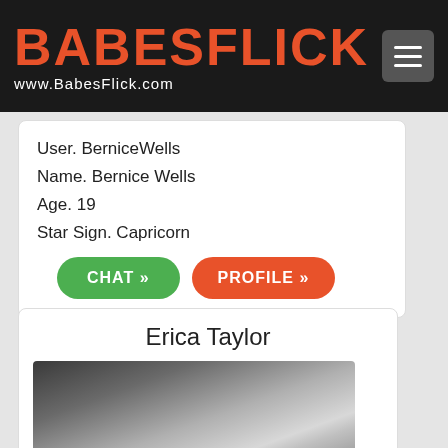BABESFLICK www.BabesFlick.com
User. BerniceWells
Name. Bernice Wells
Age. 19
Star Sign. Capricorn
CHAT »   PROFILE »
Erica Taylor
[Figure (photo): Black and white photo of a blonde woman]